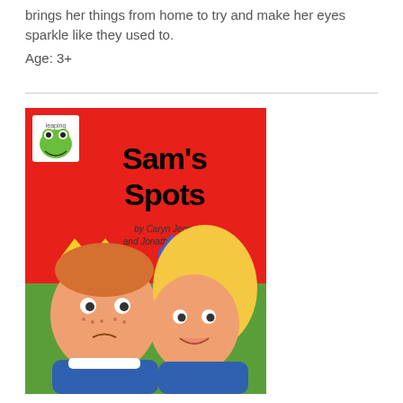brings her things from home to try and make her eyes sparkle like they used to.
Age: 3+
[Figure (illustration): Book cover of 'Sam's Spots' by Caryn Jenner and Jonathan Langley. Red background with bold black title text. Features a frog logo in top-left corner. Two cartoon children wearing paper crowns: a boy with freckles looking sad on the left, and a smiling girl with curly blonde hair on the right. Green background at the bottom.]